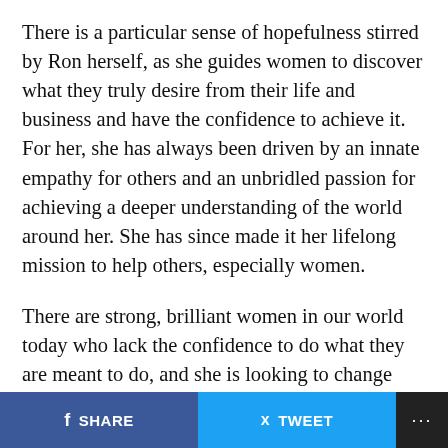There is a particular sense of hopefulness stirred by Ron herself, as she guides women to discover what they truly desire from their life and business and have the confidence to achieve it. For her, she has always been driven by an innate empathy for others and an unbridled passion for achieving a deeper understanding of the world around her. She has since made it her lifelong mission to help others, especially women.
There are strong, brilliant women in our world today who lack the confidence to do what they are meant to do, and she is looking to change that. She is a perfect example of how a female vision can carry the world to even greater heights in the years to come.
Like most women she has helped in her career, Ron set out on a long journey to find her passion. She, too, was introverted and had little confidence in what she could
SHARE   TWEET   ...